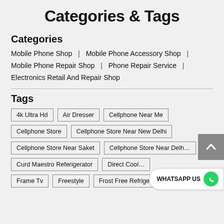Categories & Tags
Categories
Mobile Phone Shop | Mobile Phone Accessory Shop |
Mobile Phone Repair Shop | Phone Repair Service |
Electronics Retail And Repair Shop
Tags
4k Ultra Hd
Air Dresser
Cellphone Near Me
Cellphone Store
Cellphone Store Near New Delhi
Cellphone Store Near Saket
Cellphone Store Near Delhi
Curd Maestro Referigerator
Direct Cool
Frame Tv
Freestyle
Frost Free Refrigerators